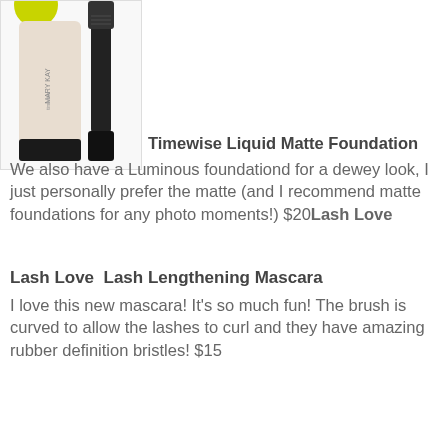[Figure (photo): Mary Kay Timewise Liquid Matte Foundation tube and mascara product photo on white background]
Timewise Liquid Matte Foundation
We also have a Luminous foundationd for a dewey look, I just personally prefer the matte (and I recommend matte foundations for any photo moments!) $20Lash Love
Lash Love  Lash Lengthening Mascara
I love this new mascara! It's so much fun! The brush is curved to allow the lashes to curl and they have amazing rubber definition bristles! $15